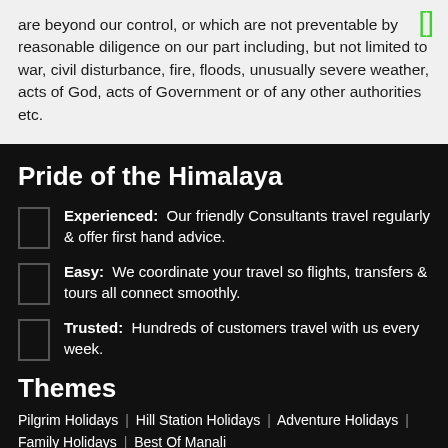are beyond our control, or which are not preventable by reasonable diligence on our part including, but not limited to war, civil disturbance, fire, floods, unusually severe weather, acts of God, acts of Government or of any other authorities etc.
Pride of the Himalaya
Experienced: Our friendly Consultants travel regularly & offer first hand advice.
Easy: We coordinate your travel so flights, transfers & tours all connect smoothly.
Trusted: Hundreds of customers travel with us every week.
Themes
Pilgrim Holidays | Hill Station Holidays | Adventure Holidays | Family Holidays | Best Of Manali